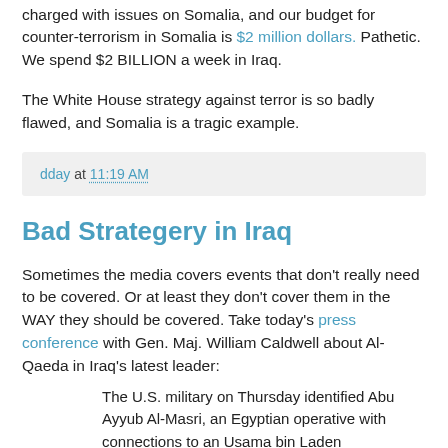charged with issues on Somalia, and our budget for counter-terrorism in Somalia is $2 million dollars. Pathetic. We spend $2 BILLION a week in Iraq.
The White House strategy against terror is so badly flawed, and Somalia is a tragic example.
dday at 11:19 AM
Bad Strategery in Iraq
Sometimes the media covers events that don't really need to be covered. Or at least they don't cover them in the WAY they should be covered. Take today's press conference with Gen. Maj. William Caldwell about Al-Qaeda in Iraq's latest leader:
The U.S. military on Thursday identified Abu Ayyub Al-Masri, an Egyptian operative with connections to an Usama bin Laden lieutenant,